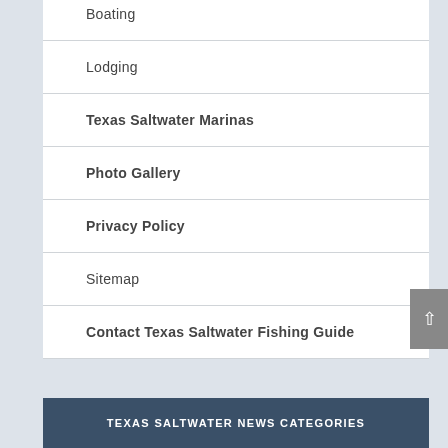Boating
Lodging
Texas Saltwater Marinas
Photo Gallery
Privacy Policy
Sitemap
Contact Texas Saltwater Fishing Guide
TEXAS SALTWATER NEWS CATEGORIES